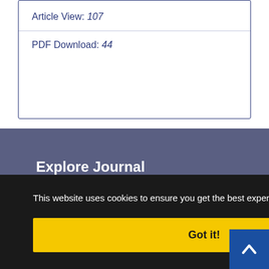Article View: 107
PDF Download: 44
Explore Journal
Home
About Journal
This website uses cookies to ensure you get the best experience on our website.
Got it!
Sitemap